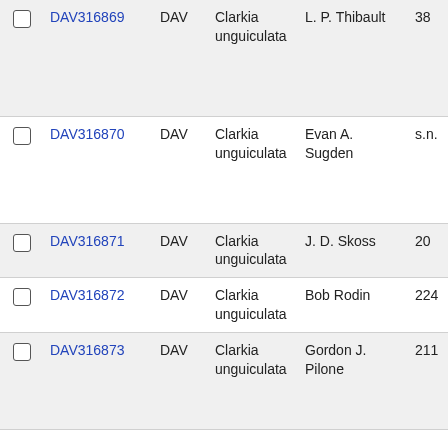|  | ID | Source | Species | Collector | No. |
| --- | --- | --- | --- | --- | --- |
| ☐ | DAV316869 | DAV | Clarkia unguiculata | L. P. Thibault | 38 |
| ☐ | DAV316870 | DAV | Clarkia unguiculata | Evan A. Sugden | s.n. |
| ☐ | DAV316871 | DAV | Clarkia unguiculata | J. D. Skoss | 20 |
| ☐ | DAV316872 | DAV | Clarkia unguiculata | Bob Rodin | 224 |
| ☐ | DAV316873 | DAV | Clarkia unguiculata | Gordon J. Pilone | 211 |